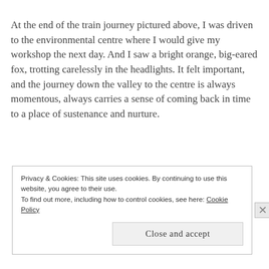At the end of the train journey pictured above, I was driven to the environmental centre where I would give my workshop the next day. And I saw a bright orange, big-eared fox, trotting carelessly in the headlights. It felt important, and the journey down the valley to the centre is always momentous, always carries a sense of coming back in time to a place of sustenance and nurture.
Privacy & Cookies: This site uses cookies. By continuing to use this website, you agree to their use. To find out more, including how to control cookies, see here: Cookie Policy